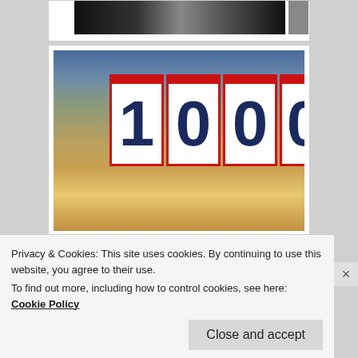[Figure (photo): Partial top image showing dark background with figures, cropped at top of page]
[Figure (photo): A young boy holding up four signs spelling out '1000' at a sports event, with crowd in background]
[Figure (photo): Partial bottom image showing crowd at a sports venue, partially obscured by cookie banner]
Privacy & Cookies: This site uses cookies. By continuing to use this website, you agree to their use.
To find out more, including how to control cookies, see here: Cookie Policy
Close and accept